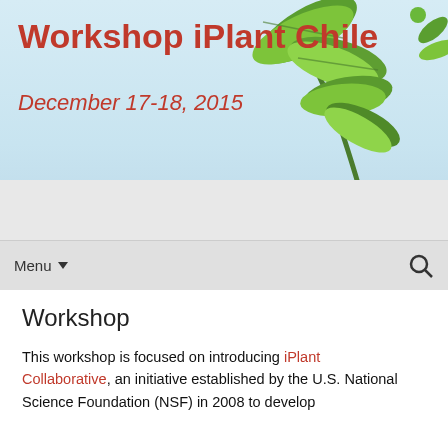Workshop iPlant Chile
December 17-18, 2015
[Figure (illustration): Green plant leaves illustration in top-right corner of the header banner against a light blue sky background]
Menu
Workshop
This workshop is focused on introducing iPlant Collaborative, an initiative established by the U.S. National Science Foundation (NSF) in 2008 to develop